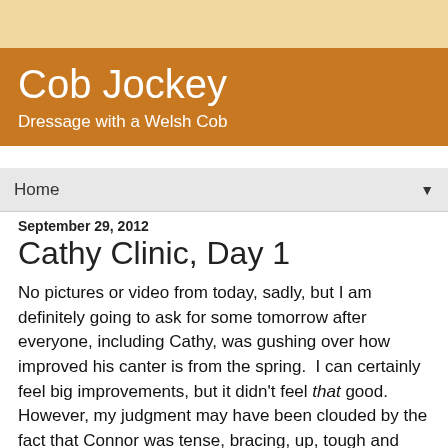Cob Jockey
Dressage with a Welsh Cob
Home
September 29, 2012
Cathy Clinic, Day 1
No pictures or video from today, sadly, but I am definitely going to ask for some tomorrow after everyone, including Cathy, was gushing over how improved his canter is from the spring.  I can certainly feel big improvements, but it didn't feel that good.  However, my judgment may have been clouded by the fact that Connor was tense, bracing, up, tough and distracted this morning, and I really had to ride aggressively in order to make lemonade out of those lemons.
My biggest takeaways from today are: